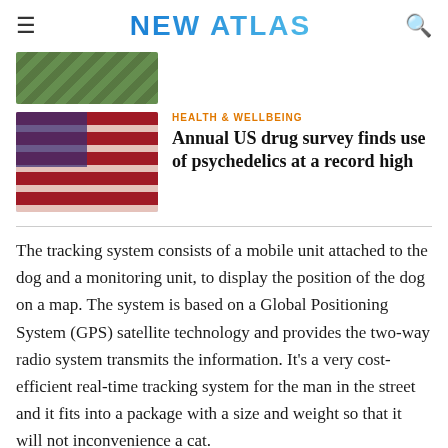NEW ATLAS
[Figure (photo): Partial top image strip showing green foliage/outdoor scene]
[Figure (photo): Thumbnail image of American flag with blue and red tones, text overlaid]
HEALTH & WELLBEING
Annual US drug survey finds use of psychedelics at a record high
The tracking system consists of a mobile unit attached to the dog and a monitoring unit, to display the position of the dog on a map. The system is based on a Global Positioning System (GPS) satellite technology and provides the two-way radio system transmits the information. It’s a very cost-efficient real-time tracking system for the man in the street and it fits into a package with a size and weight so that it will not inconvenience a cat.